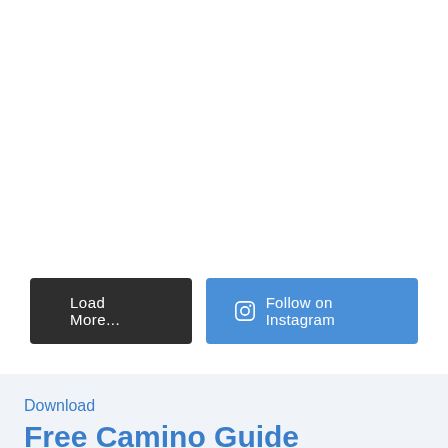[Figure (screenshot): White empty space at top of page, representing scrolled-off content]
Load More...
Follow on Instagram
Download
Free Camino Guide
[Figure (photo): Bottom partial view of a guide book preview section with blue book cover reading 'Free Camino' and a gold/orange 'Book Now' circular button with hiking person icon]